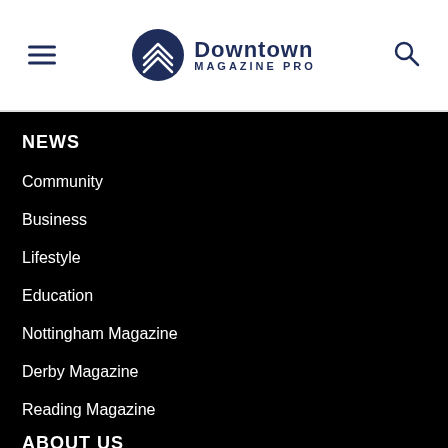Downtown Magazine Pro
NEWS
Community
Business
Lifestyle
Education
Nottingham Magazine
Derby Magazine
Reading Magazine
ABOUT US